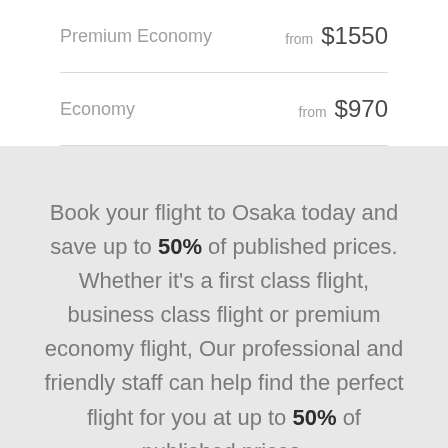Premium Economy — from $1550
Economy — from $970
Book your flight to Osaka today and save up to 50% of published prices. Whether it's a first class flight, business class flight or premium economy flight, Our professional and friendly staff can help find the perfect flight for you at up to 50% of published prices.